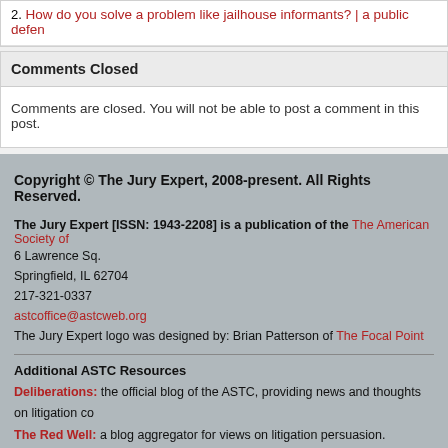2. How do you solve a problem like jailhouse informants? | a public defen…
Comments Closed
Comments are closed. You will not be able to post a comment in this post.
Copyright © The Jury Expert, 2008-present. All Rights Reserved.
The Jury Expert [ISSN: 1943-2208] is a publication of the The American Society of…
6 Lawrence Sq.
Springfield, IL 62704
217-321-0337
astcoffice@astcweb.org
The Jury Expert logo was designed by: Brian Patterson of The Focal Point
Additional ASTC Resources
Deliberations: the official blog of the ASTC, providing news and thoughts on litigation co…
The Red Well: a blog aggregator for views on litigation persuasion.